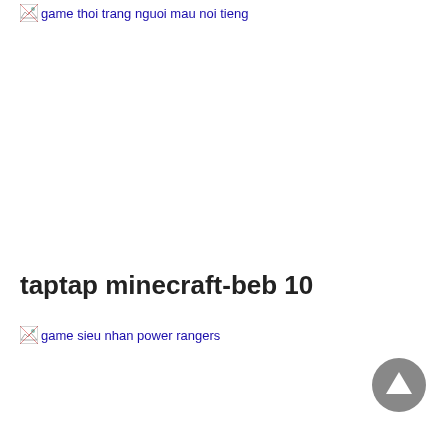[Figure (other): Broken image link: game thoi trang nguoi mau noi tieng]
taptap minecraft-beb 10
[Figure (other): Broken image link: game sieu nhan power rangers]
[Figure (other): Scroll to top button - circular grey button with upward triangle arrow]